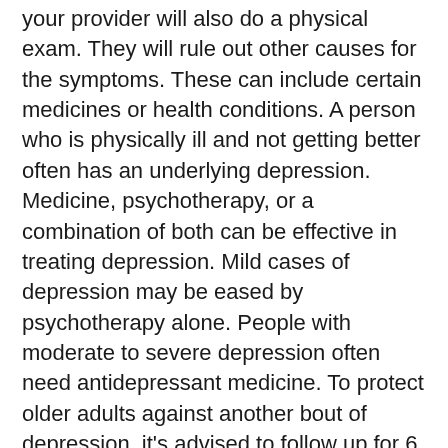your provider will also do a physical exam. They will rule out other causes for the symptoms. These can include certain medicines or health conditions. A person who is physically ill and not getting better often has an underlying depression. Medicine, psychotherapy, or a combination of both can be effective in treating depression. Mild cases of depression may be eased by psychotherapy alone. People with moderate to severe depression often need antidepressant medicine. To protect older adults against another bout of depression, it's advised to follow up for 6 months to a year after the person is free of symptoms. You can help prevent depression by staying active and being connected to other people through family, community activities, senior groups, or a religious affiliation.